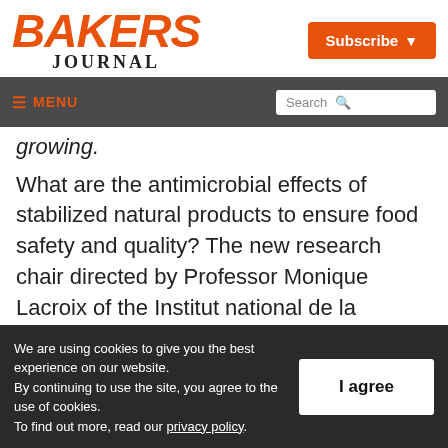BAKERS JOURNAL
Subscribe
≡ MENU | Search
growing.
What are the antimicrobial effects of stabilized natural products to ensure food safety and quality? The new research chair directed by Professor Monique Lacroix of the Institut national de la recherche scientifique
We are using cookies to give you the best experience on our website.
By continuing to use the site, you agree to the use of cookies.
To find out more, read our privacy policy.